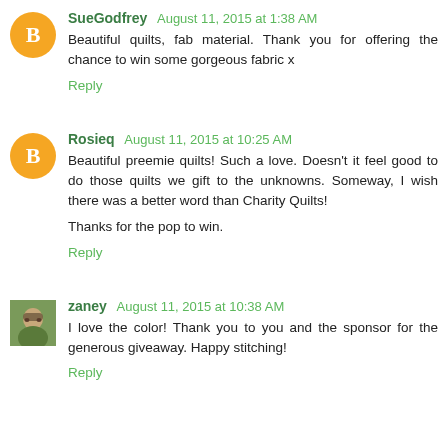SueGodfrey August 11, 2015 at 1:38 AM
Beautiful quilts, fab material. Thank you for offering the chance to win some gorgeous fabric x
Reply
Rosieq August 11, 2015 at 10:25 AM
Beautiful preemie quilts! Such a love. Doesn't it feel good to do those quilts we gift to the unknowns. Someway, I wish there was a better word than Charity Quilts!
Thanks for the pop to win.
Reply
zaney August 11, 2015 at 10:38 AM
I love the color! Thank you to you and the sponsor for the generous giveaway. Happy stitching!
Reply